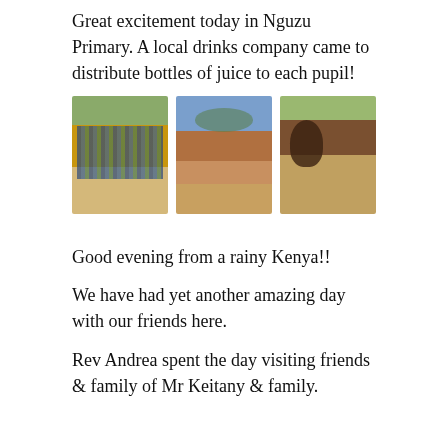Great excitement today in Nguzu Primary. A local drinks company came to distribute bottles of juice to each pupil!
[Figure (photo): Three photos side by side: (1) a line of schoolchildren in uniform outdoors, (2) a school building with dirt ground, (3) close-up of children looking at something]
Good evening from a rainy Kenya!!
We have had yet another amazing day with our friends here.
Rev Andrea spent the day visiting friends & family of Mr Keitany & family.